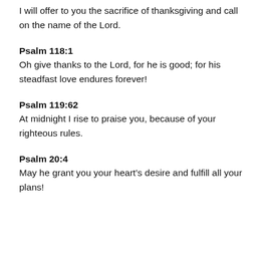I will offer to you the sacrifice of thanksgiving and call on the name of the Lord.
Psalm 118:1
Oh give thanks to the Lord, for he is good; for his steadfast love endures forever!
Psalm 119:62
At midnight I rise to praise you, because of your righteous rules.
Psalm 20:4
May he grant you your heart’s desire and fulfill all your plans!